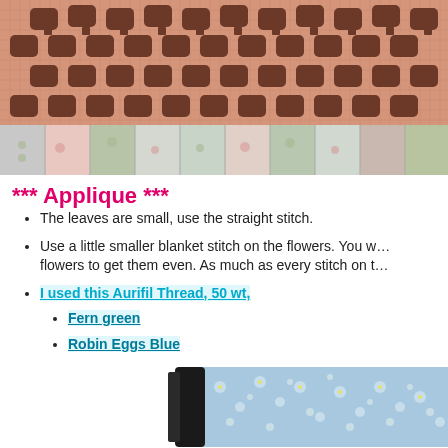[Figure (photo): Close-up photo of a needlepoint/cross-stitch textile showing a pattern with brown geometric/floral designs on a salmon/peach background, with a patchwork border visible at the bottom in green, pink, and light colors.]
*** Applique ***
The leaves are small, use the straight stitch.
Use a little smaller blanket stitch on the flowers. You w… flowers to get them even. As much as every stitch on t…
I used this Aurifil Thread, 50 wt,
Fern green
Robin Eggs Blue
[Figure (photo): Partial photo at bottom of page showing a black object and a floral blue/white fabric, likely a quilted item.]